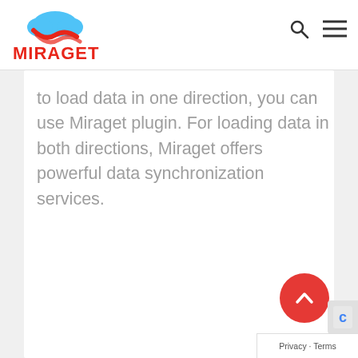[Figure (logo): Miraget logo: cloud icon in blue and red above the word MIRAGET in red bold text]
to load data in one direction, you can use Miraget plugin. For loading data in both directions, Miraget offers powerful data synchronization services.